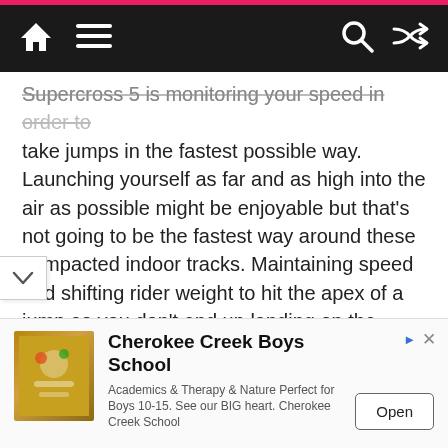Navigation bar with home, menu, search, and shuffle icons
Supercross 5 is monitoring your speed in order to take jumps in the fastest possible way. Launching yourself as far and as high into the air as possible might be enjoyable but that’s not going to be the fastest way around these compacted indoor tracks. Maintaining speed and shifting rider weight to hit the apex of a jump so you don’t end up landing on the upward side of a slope makes all the difference between 1st and 2nd place in this game. Literally at times.

One of the biggest tweaks to the tried and tested formula in this series is the weight shifting and in
[Figure (other): Advertisement banner: Cherokee Creek Boys School. Academics & Therapy & Nature Perfect for Boys 10-15. See our BIG heart. Cherokee Creek School. Open button.]